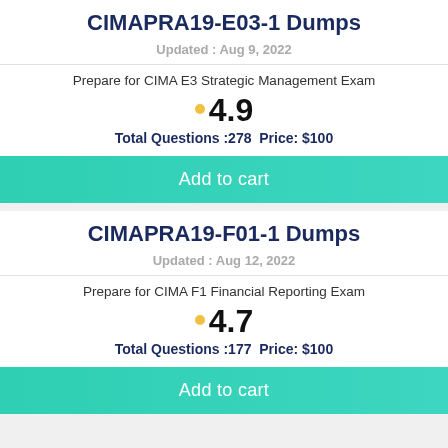CIMAPRA19-E03-1 Dumps
Updated : Aug 9, 2022
Prepare for CIMA E3 Strategic Management Exam
4.9
Total Questions :278  Price: $100
Add to cart
CIMAPRA19-F01-1 Dumps
Updated : Aug 12, 2022
Prepare for CIMA F1 Financial Reporting Exam
4.7
Total Questions :177  Price: $100
Add to cart